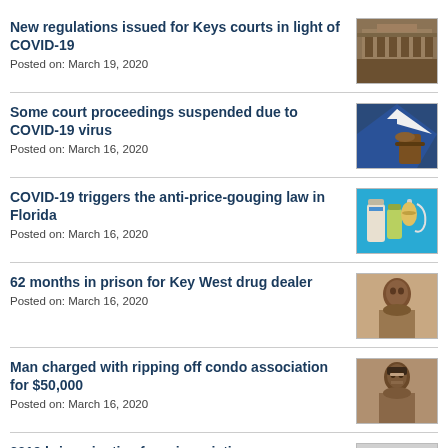New regulations issued for Keys courts in light of COVID-19
Posted on: March 19, 2020
[Figure (photo): Courtroom interior with rows of seating]
Some court proceedings suspended due to COVID-19 virus
Posted on: March 16, 2020
[Figure (photo): Gavel with American flag background]
COVID-19 triggers the anti-price-gouging law in Florida
Posted on: March 16, 2020
[Figure (photo): Medicine bottles and vials on blue background]
62 months in prison for Key West drug dealer
Posted on: March 16, 2020
[Figure (photo): Mugshot of male individual]
Man charged with ripping off condo association for $50,000
Posted on: March 16, 2020
[Figure (photo): Mugshot of male individual wearing glasses]
2019 brings justice for crime victims,